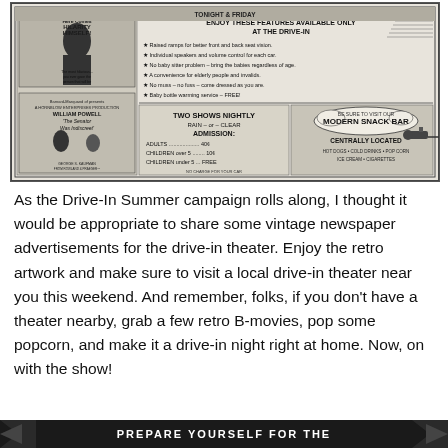[Figure (illustration): Vintage drive-in theater newspaper advertisement. Left side shows movie posters for 'Here Comes Hilarity Himself!' and 'William Powell in The Senator Was Indiscreet'. Right side lists features available only at the drive-in: raised ramps for better front and back seat vision, individual speakers and volume control for each car, no baby sitter problem - bring the babies regardless of age, a convenience for elderly people and invalids, no muss - no fuss - come dressed as you are, baby bottle warming service FREE. Center bottom: TWO SHOWS NIGHTLY RAIN or CLEAR ADMISSION: ADULTS 40c, CHILDREN over 5 10c, CHILDREN under 5 FREE. Right side: BE SURE TO VISIT OUR MODERN SNACK BAR CENTRALLY LOCATED with cannon graphic.]
As the Drive-In Summer campaign rolls along, I thought it would be appropriate to share some vintage newspaper advertisements for the drive-in theater. Enjoy the retro artwork and make sure to visit a local drive-in theater near you this weekend. And remember, folks, if you don't have a theater nearby, grab a few retro B-movies, pop some popcorn, and make it a drive-in night right at home. Now, on with the show!
[Figure (illustration): Bottom black banner with white bold text reading 'PREPARE YOURSELF FOR THE' with decorative arrow/chevron elements on left and right sides.]